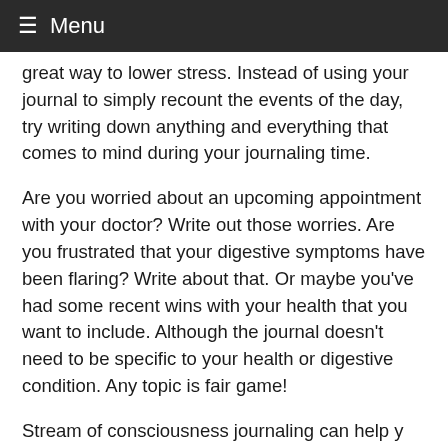≡ Menu
great way to lower stress. Instead of using your journal to simply recount the events of the day, try writing down anything and everything that comes to mind during your journaling time.
Are you worried about an upcoming appointment with your doctor? Write out those worries. Are you frustrated that your digestive symptoms have been flaring? Write about that. Or maybe you've had some recent wins with your health that you want to include. Although the journal doesn't need to be specific to your health or digestive condition. Any topic is fair game!
Stream of consciousness journaling can help you blow off steam by getting your thoughts out of your head and into your journal.